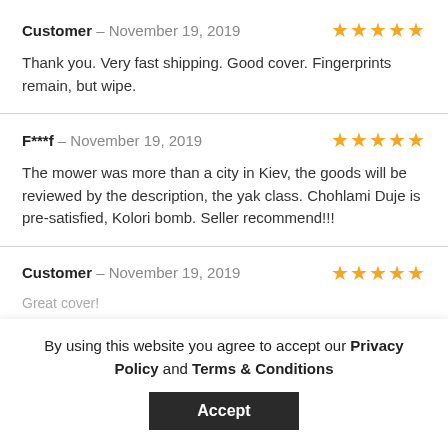Customer – November 19, 2019 ★★★★★
Thank you. Very fast shipping. Good cover. Fingerprints remain, but wipe.
F***f – November 19, 2019 ★★★★★
The mower was more than a city in Kiev, the goods will be reviewed by the description, the yak class. Chohlami Duje is pre-satisfied, Kolori bomb. Seller recommend!!!
Customer – November 19, 2019 ★★★★★
Great cover!
By using this website you agree to accept our Privacy Policy and Terms & Conditions
Accept